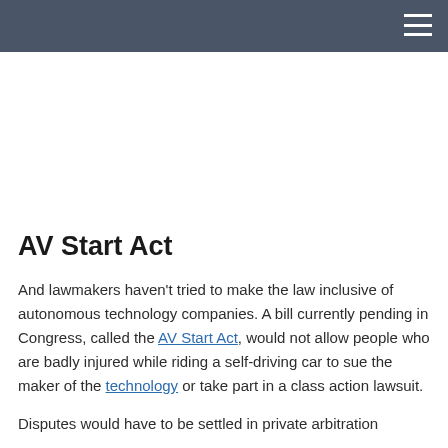AV Start Act
And lawmakers haven't tried to make the law inclusive of autonomous technology companies. A bill currently pending in Congress, called the AV Start Act, would not allow people who are badly injured while riding a self-driving car to sue the maker of the technology or take part in a class action lawsuit.
Disputes would have to be settled in private arbitration